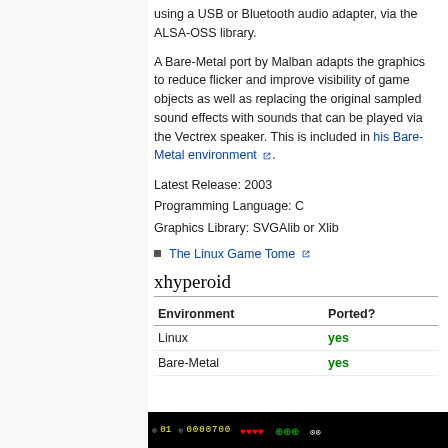using a USB or Bluetooth audio adapter, via the ALSA-OSS library.
A Bare-Metal port by Malban adapts the graphics to reduce flicker and improve visibility of game objects as well as replacing the original sampled sound effects with sounds that can be played via the Vectrex speaker. This is included in his Bare-Metal environment.
Latest Release: 2003
Programming Language: C
Graphics Library: SVGAlib or Xlib
The Linux Game Tome
xhyperoid
| Environment | Ported? |
| --- | --- |
| Linux | yes |
| Bare-Metal | yes |
[Figure (screenshot): Game HUD screenshot showing score 0000700, lives as red hearts, and green status icons on black background]